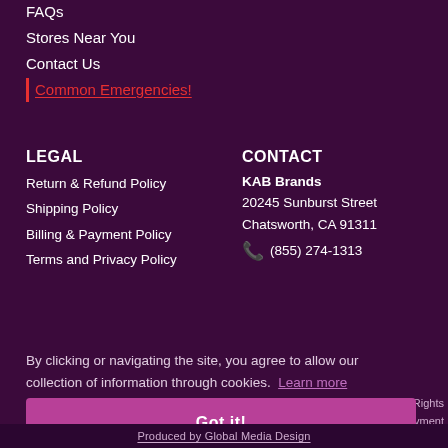FAQs
Stores Near You
Contact Us
Common Emergencies!
LEGAL
Return & Refund Policy
Shipping Policy
Billing & Payment Policy
Terms and Privacy Policy
CONTACT
KAB Brands
20245 Sunburst Street
Chatsworth, CA 91311
(855) 274-1313
By clicking or navigating the site, you agree to allow our collection of information through cookies.  Learn more
Got it!
ll Rights
Payment
nformation
Produced by Global Media Design